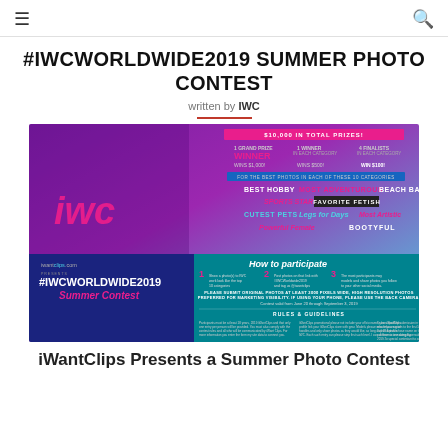≡  🔍
#IWCWORLDWIDE2019 SUMMER PHOTO CONTEST
written by IWC
[Figure (infographic): IWCWorldwide2019 Summer Photo Contest promotional poster. Shows $10,000 in total prizes: 1 Grand Prize Winner wins $1,000, 1 Winner in each category wins $500, 4 Finalists in each category win $100. Categories include: Best Hobby, Most Adventurous, Beach Babe, Sports Star, Favorite Fetish, Cutest Pets, Legs for Days, Most Artistic, Powerful Female, Bootyful. Bottom section shows iwantclips.com presents #IWCWORLDWIDE2019 Summer Contest with how to participate steps and rules & guidelines.]
iWantClips Presents a Summer Photo Contest